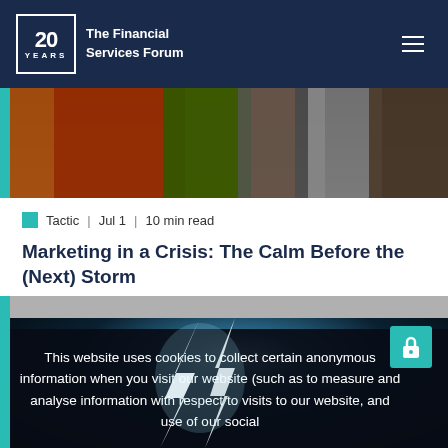The Financial Services Forum
[Figure (photo): Colorful advertising billboards and signage]
Tactic  |  Jul 1  |  10 min read
Marketing in a Crisis: The Calm Before the (Next) Storm
[Figure (photo): Lightning storm at night with dramatic lightning bolts with a lock/paywall icon overlay]
This website uses cookies to collect certain anonymous information when you visit our website (such as to measure and analyse information with respect to visits to our website, and use of our social